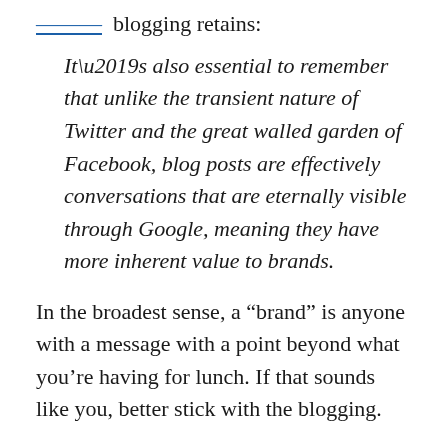blogging retains:
It’s also essential to remember that unlike the transient nature of Twitter and the great walled garden of Facebook, blog posts are effectively conversations that are eternally visible through Google, meaning they have more inherent value to brands.
In the broadest sense, a “brand” is anyone with a message with a point beyond what you’re having for lunch. If that sounds like you, better stick with the blogging.